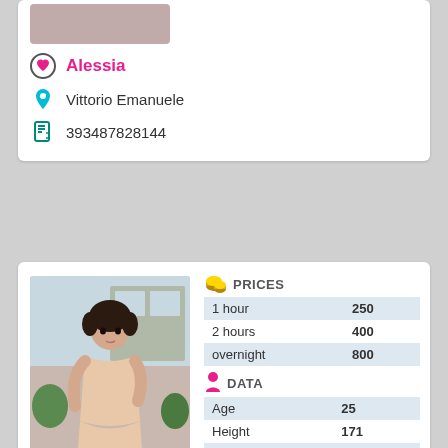[Figure (photo): Partial top of a profile card showing a cropped photo thumbnail]
Alessia
Vittorio Emanuele
393487828144
[Figure (photo): Photo of a young woman with dark hair in an updo, wearing a beige lingerie outfit, standing outdoors]
|  | PRICES |  |
| --- | --- | --- |
| 1 hour | 250 |  |
| 2 hours | 400 |  |
| overnight | 800 |  |
|  | DATA |  |
| --- | --- | --- |
| Age | 25 |  |
| Height | 171 |  |
| Weight | 50 |  |
| Breast | 4 |  |
Terry
Giardinetti
393483331304